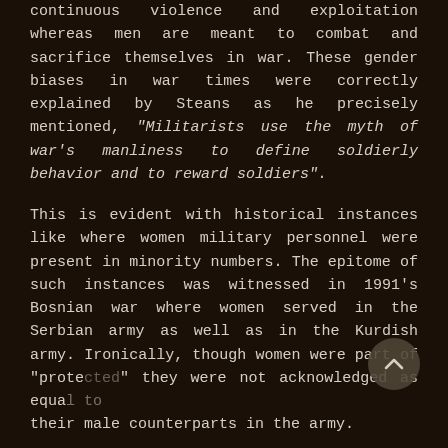continuous violence and exploitation whereas men are meant to combat and sacrifice themselves in war. These gender biases in war times were correctly explained by Steans as he precisely mentioned, "Militarists use the myth of war's manliness to define soldierly behavior and to reward soldiers".
This is evident with historical instances like where women military personnel were present in minority numbers. The epitome of such instances was witnessed in 1991's Bosnian war where women served in the Serbian army as well as in the Kurdish army. Ironically, though women were part of "prote..." they were not acknowledged as equal to their male counterparts in the army.